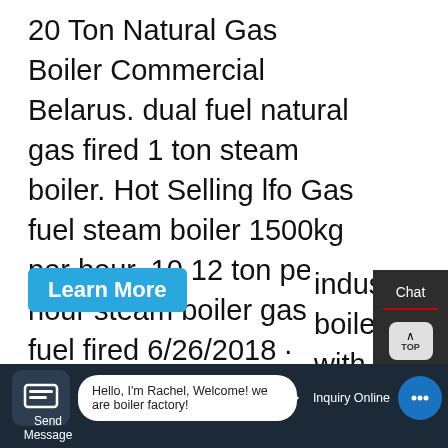20 Ton Natural Gas Boiler Commercial Belarus. dual fuel natural gas fired 1 ton steam boiler. Hot Selling lfo Gas fuel steam boiler 1500kg per hour. 10 12 ton per hour steam boiler gas oil fuel fired 6/26/2018 · Boilers on ships are used for supply of steam for various processes such as The Aalborg 3-Pass Mini boiler is a gas, LFO or dual fuel industrial boiler with a 0.5-2.5 ton / hour
[Figure (photo): Industrial boiler equipment photo showing machinery and FANGKUAI branded unit]
Chat
Em...
Contact
Contact us now!
Hello, I'm Rachel, Welcome! we are boiler factory!
Send Message
Inquiry Online